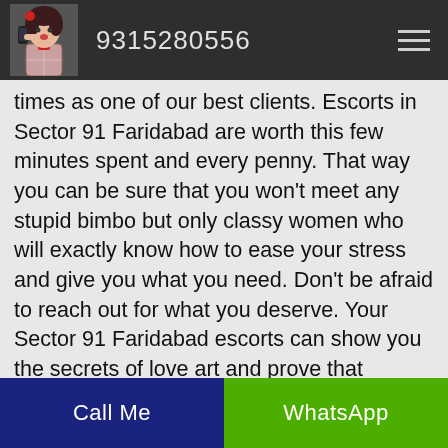9315280556
times as one of our best clients. Escorts in Sector 91 Faridabad are worth this few minutes spent and every penny. That way you can be sure that you won't meet any stupid bimbo but only classy women who will exactly know how to ease your stress and give you what you need. Don't be afraid to reach out for what you deserve. Your Sector 91 Faridabad escorts can show you the secrets of love art and prove that women rule the world. Try this great chance by calling us today and joining our gorgeous call girls in Sector 91 Faridabad
Call Me   WhatsApp